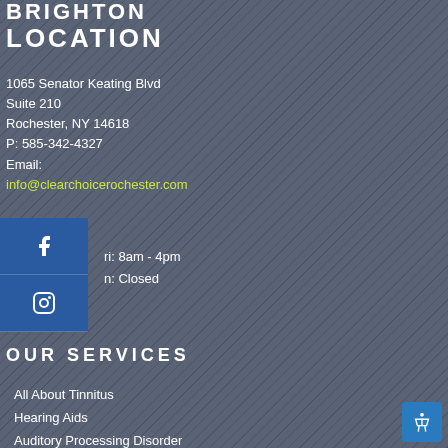BRIGHTON LOCATION
1065 Senator Keating Blvd
Suite 210
Rochester, NY 14618
P: 585-342-4327
Email:
info@clearchoicerochester.com
[Figure (other): Facebook and Instagram social media icon buttons in blue panel]
ri: 8am - 4pm
n: Closed
OUR SERVICES
All About Tinnitus
Hearing Aids
Auditory Processing Disorder
Balance and Dizziness
Pediatric Audiology